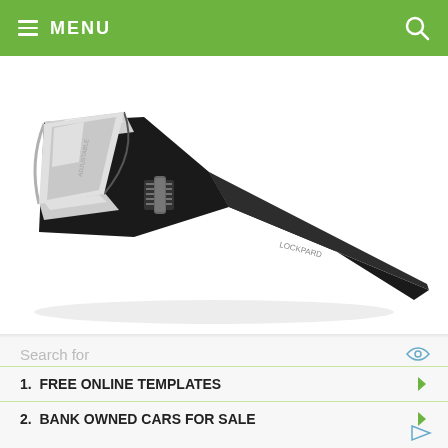≡ MENU
[Figure (photo): An adjustable wrench / spanner with a black handle tapering to a point and a chrome jaw head, photographed on a white background.]
Search for
1.  FREE ONLINE TEMPLATES
2.  BANK OWNED CARS FOR SALE